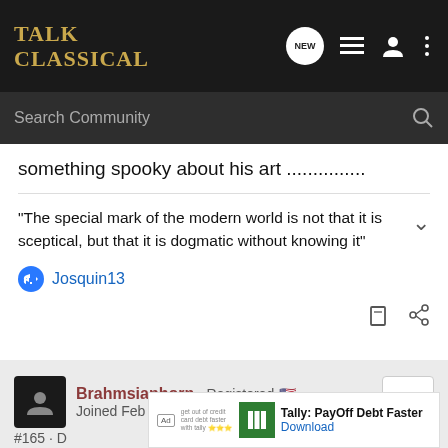Talk Classical
Search Community
something spooky about his art ...............
"The special mark of the modern world is not that it is sceptical, but that it is dogmatic without knowing it"
Josquin13
Brahmsianhorn · Registered
Joined Feb 17, 2017 · 3,126 Posts
#165 · D
Ad Tally: PayOff Debt Faster Download